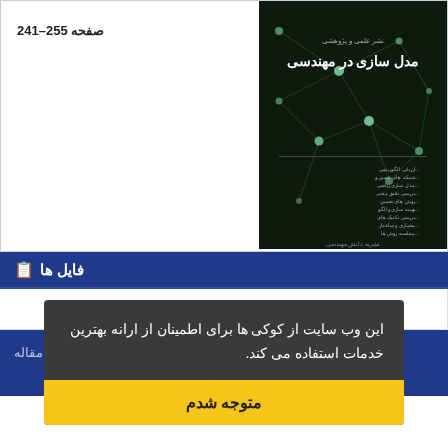صفحه 255-241
[Figure (photo): Book cover of 'مدل سازی در مهندسی' (Modeling in Engineering) - dark background with neural network imagery and Persian text]
📋 فایل ها
XML
این وب سایت از کوکی ها برای اطمینان از ارانه بهترین خدمات استفاده می کند.
متوجه شدم